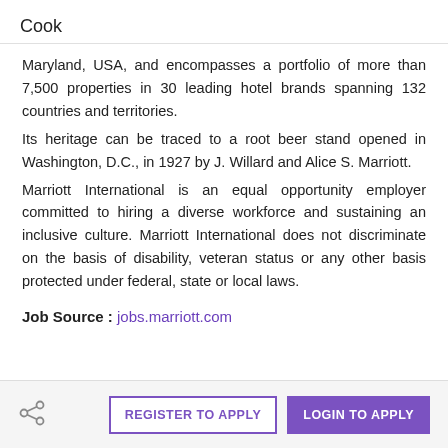Cook
Maryland, USA, and encompasses a portfolio of more than 7,500 properties in 30 leading hotel brands spanning 132 countries and territories.
Its heritage can be traced to a root beer stand opened in Washington, D.C., in 1927 by J. Willard and Alice S. Marriott.
Marriott International is an equal opportunity employer committed to hiring a diverse workforce and sustaining an inclusive culture. Marriott International does not discriminate on the basis of disability, veteran status or any other basis protected under federal, state or local laws.
Job Source : jobs.marriott.com